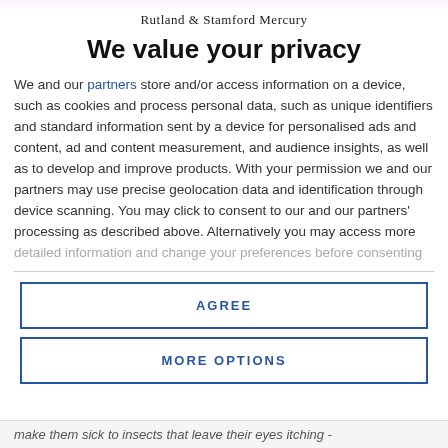Rutland & Stamford Mercury
We value your privacy
We and our partners store and/or access information on a device, such as cookies and process personal data, such as unique identifiers and standard information sent by a device for personalised ads and content, ad and content measurement, and audience insights, as well as to develop and improve products. With your permission we and our partners may use precise geolocation data and identification through device scanning. You may click to consent to our and our partners' processing as described above. Alternatively you may access more detailed information and change your preferences before consenting
AGREE
MORE OPTIONS
make them sick to insects that leave their eyes itching -